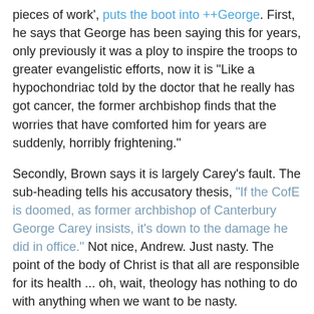pieces of work', puts the boot into ++George. First, he says that George has been saying this for years, only previously it was a ploy to inspire the troops to greater evangelistic efforts, now it is "Like a hypochondriac told by the doctor that he really has got cancer, the former archbishop finds that the worries that have comforted him for years are suddenly, horribly frightening."
Secondly, Brown says it is largely Carey's fault. The sub-heading tells his accusatory thesis, "If the CofE is doomed, as former archbishop of Canterbury George Carey insists, it's down to the damage he did in office." Not nice, Andrew. Just nasty. The point of the body of Christ is that all are responsible for its health ... oh, wait, theology has nothing to do with anything when we want to be nasty.
If Brown could get away from the joy of putting the boot into Carey he might like to consider the complexity of British society, the pluralism of Western culture in the late twentieth and early twenty-first centuries. Broad churches such as the C of E are going to have complexities. Its archbishops are having (and have had) a heck of a job balancing competing